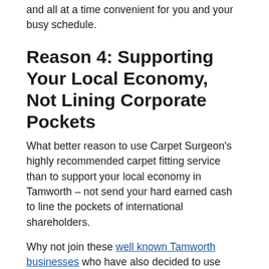and all at a time convenient for you and your busy schedule.
Reason 4: Supporting Your Local Economy, Not Lining Corporate Pockets
What better reason to use Carpet Surgeon’s highly recommended carpet fitting service than to support your local economy in Tamworth – not send your hard earned cash to line the pockets of international shareholders.
Why not join these well known Tamworth businesses who have also decided to use Carpet Surgeon for their local carpet fitting and repair needs.